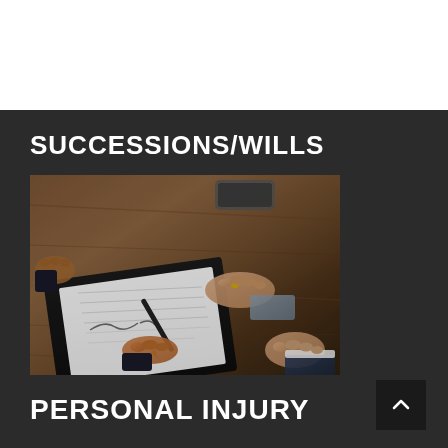SUCCESSIONS/WILLS
[Figure (photo): Overhead view of people at a wooden table with a document/clipboard being signed with a pen, hands visible, legal signing scene]
PERSONAL INJURY